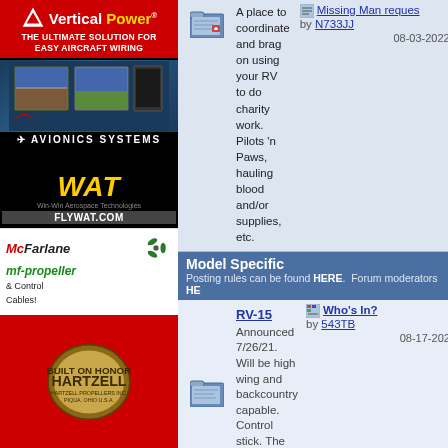[Figure (advertisement): Vertical Power red advertisement - THE ULTIMATE SOLUTION FOR EASY AIRCRAFT WIRING]
[Figure (advertisement): Avionics Systems cockpit photo advertisement with AVIONICS SYSTEMS text]
[Figure (advertisement): WAT (Win-Win Aerospace Technologies) FLYWAT.COM advertisement in black and yellow]
[Figure (advertisement): McFarlane mf-propeller and Control Cables advertisement]
[Figure (advertisement): Hartzell propeller red circular emblem advertisement]
A place to coordinate and brag on using your RV to do charity work. Pilots 'n Paws, hauling blood and/or supplies, etc.
Missing Man request by N733JJ 08-03-2022
Model Specific
Posting rules can be found HERE. Forum moderators HE
RV-15 Announced 7/26/21. Will be high wing and backcountry capable. Control stick. The rest to come....
Who's In? by 543TB 08-17-2022
RV-14 Announced to the public 7/23/12.
RV-14 Kit Reporting L by rthur Today
RV-12/RV-12iS
Logbook entry wordi by ten4teg Today
RV-10
Double Flush Rivets by Electrogunner Today
RV-9/9A
When can tanks be... by airguy Yesterday
RV-8/8A
Wings kit--Crating Da by MIKE JG Today
RV-7/7A
Building a Bump-out by wirejock Today